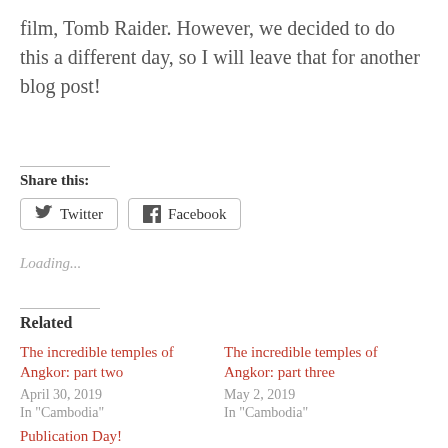film, Tomb Raider. However, we decided to do this a different day, so I will leave that for another blog post!
Share this:
Twitter   Facebook
Loading...
Related
The incredible temples of Angkor: part two
April 30, 2019
In "Cambodia"
The incredible temples of Angkor: part three
May 2, 2019
In "Cambodia"
Publication Day!